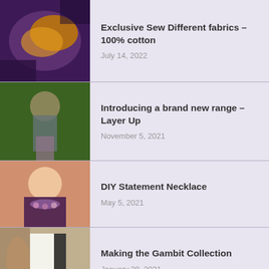Exclusive Sew Different fabrics – 100% cotton
July 14, 2022
Introducing a brand new range – Layer Up
November 5, 2021
DIY Statement Necklace
May 5, 2021
Making the Gambit Collection
January 28, 2021
Make your own re-usable Christmas Crackers
December 5, 2020